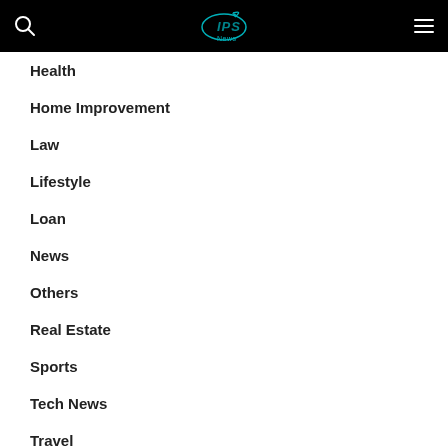IPS News
Health
Home Improvement
Law
Lifestyle
Loan
News
Others
Real Estate
Sports
Tech News
Travel